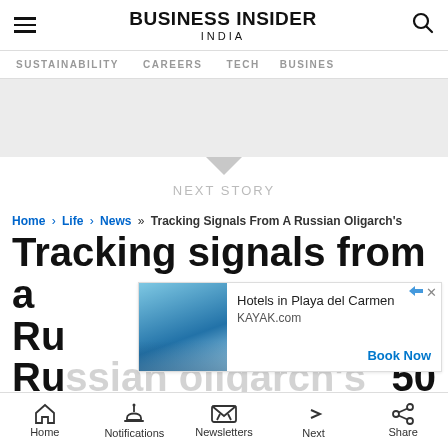BUSINESS INSIDER INDIA
SUSTAINABILITY   CAREERS   TECH   BUSINESS
[Figure (screenshot): Gray advertisement placeholder banner]
NEXT STORY
Home > Life > News >> Tracking Signals From A Russian Oligarch's
Tracking signals from a Russian oligarch's $150 mil
[Figure (photo): Ad overlay: Hotels in Playa del Carmen - KAYAK.com - Book Now]
Home   Notifications   Newsletters   Next   Share